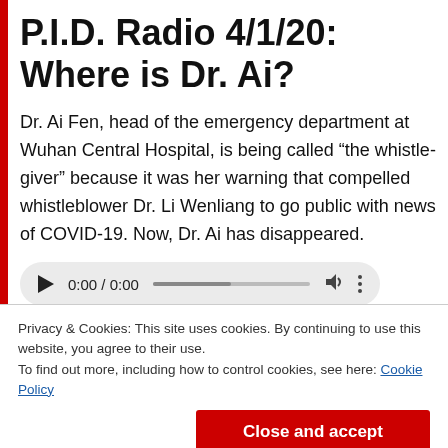P.I.D. Radio 4/1/20: Where is Dr. Ai?
Dr. Ai Fen, head of the emergency department at Wuhan Central Hospital, is being called “the whistle-giver” because it was her warning that compelled whistleblower Dr. Li Wenliang to go public with news of COVID-19. Now, Dr. Ai has disappeared.
[Figure (other): Audio player with play button, time display 0:00 / 0:00, progress bar, volume icon, and more options icon]
Privacy & Cookies: This site uses cookies. By continuing to use this website, you agree to their use.
To find out more, including how to control cookies, see here: Cookie Policy
Close and accept